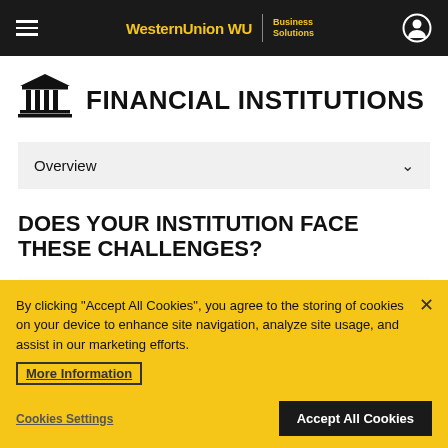WesternUnion WU | Business Solutions
FINANCIAL INSTITUTIONS
Overview
DOES YOUR INSTITUTION FACE THESE CHALLENGES?
By clicking “Accept All Cookies”, you agree to the storing of cookies on your device to enhance site navigation, analyze site usage, and assist in our marketing efforts.
More Information
Cookies Settings
Accept All Cookies